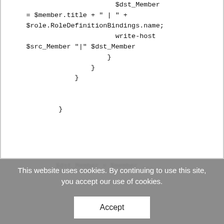$dst_Member
= $member.title + " | " +
$role.RoleDefinitionBindings.name;
                        write-host
$src_Member "|" $dst_Member
                    }
                }
            }


        }
This website uses cookies. By continuing to use this site, you accept our use of cookies.
Accept